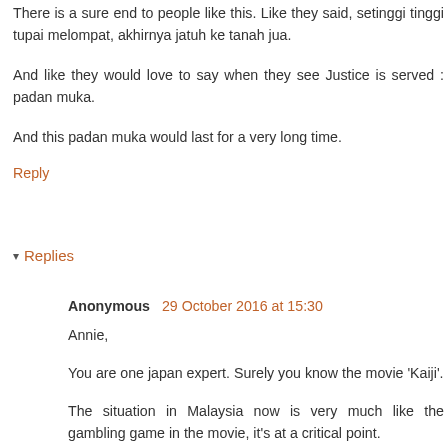There is a sure end to people like this. Like they said, setinggi tinggi tupai melompat, akhirnya jatuh ke tanah jua.
And like they would love to say when they see Justice is served : padan muka.
And this padan muka would last for a very long time.
Reply
▾ Replies
Anonymous 29 October 2016 at 15:30
Annie,
You are one japan expert. Surely you know the movie 'Kaiji'.
The situation in Malaysia now is very much like the gambling game in the movie, it's at a critical point.
When DSAI was sacked, the public has since